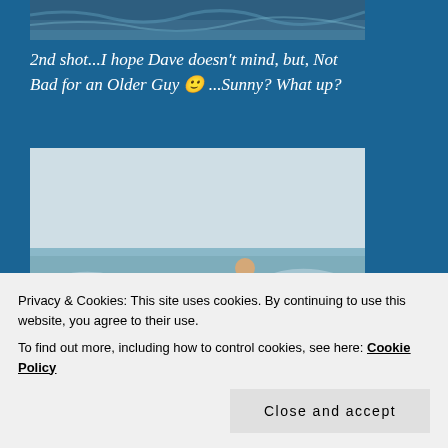[Figure (photo): Top portion of a surfing photo showing water/ocean scene, partially cropped at top of page]
2nd shot...I hope Dave doesn't mind, but, Not Bad for an Older Guy 🙂 ...Sunny? What up?
[Figure (photo): Photo of a man surfing on a wave at the beach, wearing a blue shirt, riding a surfboard on a breaking wave]
Privacy & Cookies: This site uses cookies. By continuing to use this website, you agree to their use.
To find out more, including how to control cookies, see here: Cookie Policy
Close and accept